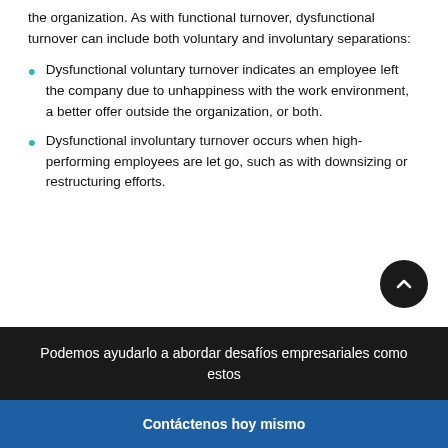the organization. As with functional turnover, dysfunctional turnover can include both voluntary and involuntary separations:
Dysfunctional voluntary turnover indicates an employee left the company due to unhappiness with the work environment, a better offer outside the organization, or both.
Dysfunctional involuntary turnover occurs when high-performing employees are let go, such as with downsizing or restructuring efforts.
Podemos ayudarlo a abordar desafíos empresariales como estos
Contáctenos hoy mismo